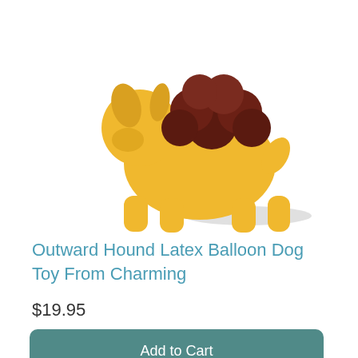[Figure (photo): Yellow rubber balloon dog toy with dark brown balloon cluster on its back, photographed on white background]
Outward Hound Latex Balloon Dog Toy From Charming
$19.95
Add to Cart
9% OFF  Was $21.99
[Figure (photo): Silly Sounds Latex Balloon dog toy product packaging showing orange circular logo and blue tag with product name]